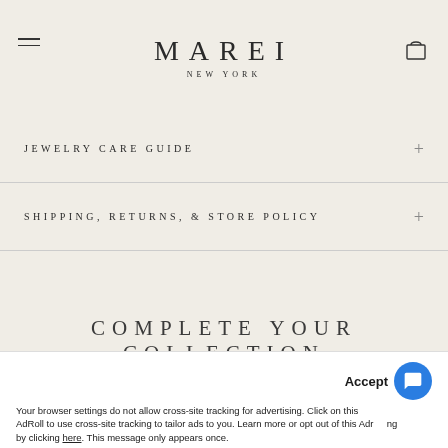MAREI NEW YORK
JEWELRY CARE GUIDE
SHIPPING, RETURNS, & STORE POLICY
COMPLETE YOUR COLLECTION
Your browser settings do not allow cross-site tracking for advertising. Click on this Accept to allow AdRoll to use cross-site tracking to tailor ads to you. Learn more or opt out of this AdRoll tracking by clicking here. This message only appears once.